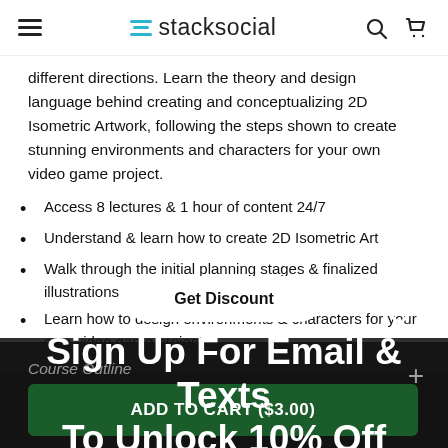stacksocial
different directions. Learn the theory and design language behind creating and conceptualizing 2D Isometric Artwork, following the steps shown to create stunning environments and characters for your own video game project.
Access 8 lectures & 1 hour of content 24/7
Understand & learn how to create 2D Isometric Art
Walk through the initial planning stages & finalized illustrations
Learn how to design environments & characters for your own video game project
Sign Up For Email & Texts To Unlock 10% Off
Get Discount
Course Outline
ADD TO CART ($3.00)